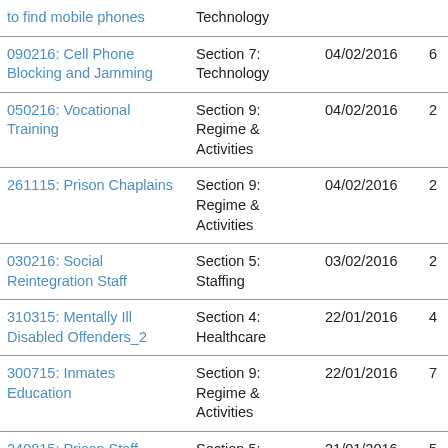| Title | Section | Date | Pages |  |
| --- | --- | --- | --- | --- |
| to find mobile phones | Technology |  |  |  |
| 090216: Cell Phone Blocking and Jamming | Section 7: Technology | 04/02/2016 | 6 |  |
| 050216: Vocational Training | Section 9: Regime & Activities | 04/02/2016 | 2 |  |
| 261115: Prison Chaplains | Section 9: Regime & Activities | 04/02/2016 | 2 |  |
| 030216: Social Reintegration Staff | Section 5: Staffing | 03/02/2016 | 2 |  |
| 310315: Mentally Ill Disabled Offenders_2 | Section 4: Healthcare | 22/01/2016 | 4 |  |
| 300715: Inmates Education | Section 9: Regime & Activities | 22/01/2016 | 7 |  |
| 240815: Prison Staff Clothing and | Section 5: Staffing | 21/01/2016 | 5 |  |